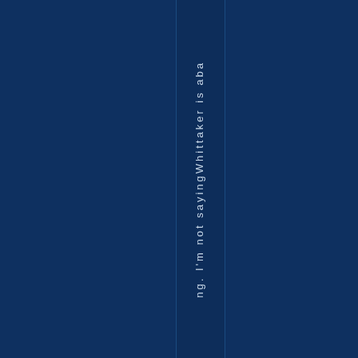ng. I'm not saying Whittaker is aba